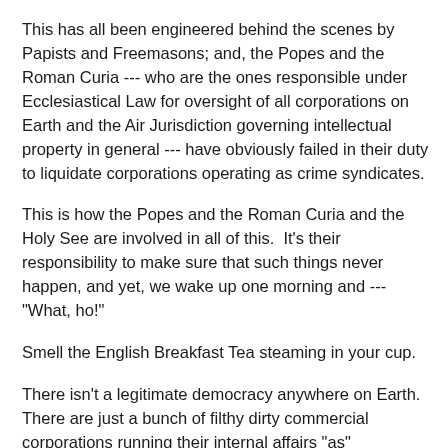This has all been engineered behind the scenes by Papists and Freemasons; and, the Popes and the Roman Curia --- who are the ones responsible under Ecclesiastical Law for oversight of all corporations on Earth and the Air Jurisdiction governing intellectual property in general --- have obviously failed in their duty to liquidate corporations operating as crime syndicates.
This is how the Popes and the Roman Curia and the Holy See are involved in all of this.  It's their responsibility to make sure that such things never happen, and yet, we wake up one morning and --- "What, ho!"
Smell the English Breakfast Tea steaming in your cup.
There isn't a legitimate democracy anywhere on Earth. There are just a bunch of filthy dirty commercial corporations running their internal affairs "as" democracies, but even internally, they don't have a mandate and are nothing but lawless mercenary pirate organizations.